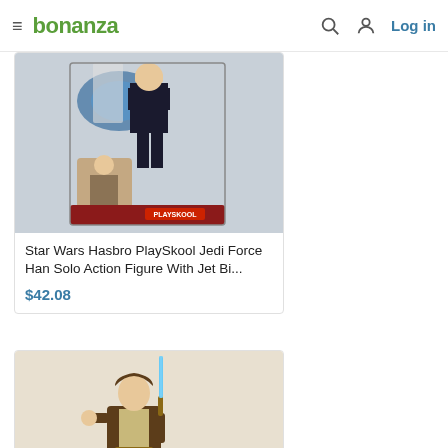bonanza — Log in
[Figure (photo): Star Wars Hasbro PlaySkool Jedi Force Han Solo action figure in packaging with jet bike, by Playskool]
Star Wars Hasbro PlaySkool Jedi Force Han Solo Action Figure With Jet Bi...
$42.08
[Figure (photo): Star Wars action figure of Obi-Wan Kenobi in brown robe holding blue lightsaber, with accessories]